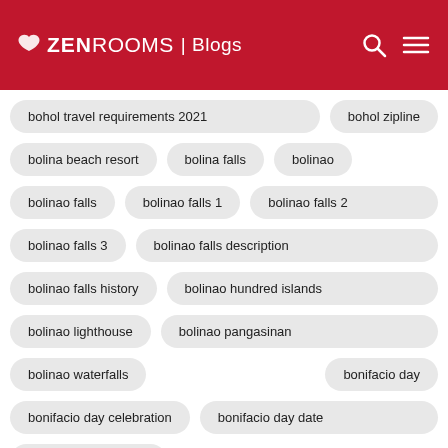ZEN ROOMS | Blogs
bohol travel requirements 2021
bohol zipline
bolina beach resort
bolina falls
bolinao
bolinao falls
bolinao falls 1
bolinao falls 2
bolinao falls 3
bolinao falls description
bolinao falls history
bolinao hundred islands
bolinao lighthouse
bolinao pangasinan
bolinao waterfalls
bonifacio day
bonifacio day celebration
bonifacio day date
bonifacio day holiday